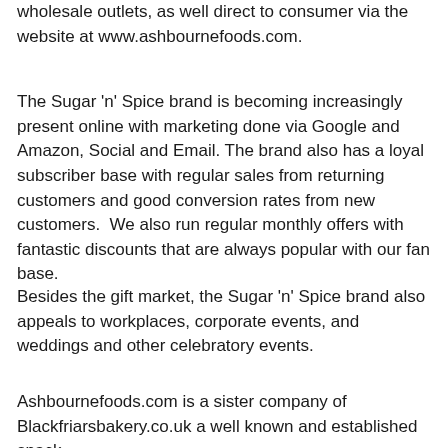wholesale outlets, as well direct to consumer via the website at www.ashbournefoods.com.
The Sugar 'n' Spice brand is becoming increasingly present online with marketing done via Google and Amazon, Social and Email. The brand also has a loyal subscriber base with regular sales from returning customers and good conversion rates from new customers.  We also run regular monthly offers with fantastic discounts that are always popular with our fan base.
Besides the gift market, the Sugar 'n' Spice brand also appeals to workplaces, corporate events, and weddings and other celebratory events.
Ashbournefoods.com is a sister company of Blackfriarsbakery.co.uk a well known and established snack